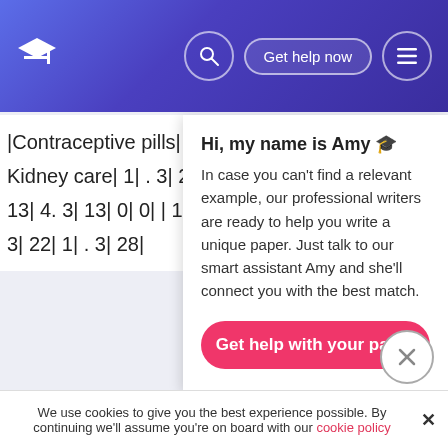Get help now
| |Contraceptive pills| 6| 2… |
| Kidney care| 1| . 3| 23|… |
| 13| 4. 3| 13| 0| 0| | 13… |
| 3| 22| 1| . 3| 28| |
Hi, my name is Amy 🎓
In case you can't find a relevant example, our professional writers are ready to help you write a unique paper. Just talk to our smart assistant Amy and she'll connect you with the best match.
Get help with your paper
We use cookies to give you the best experience possible. By continuing we'll assume you're on board with our cookie policy